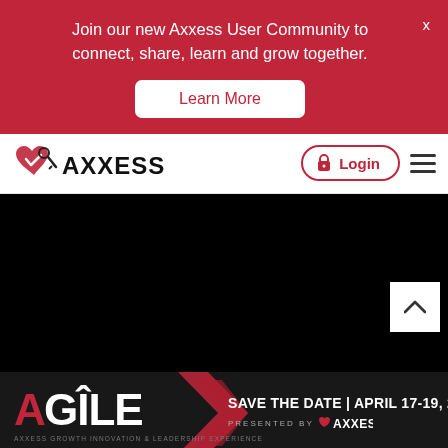Join our new Axxess User Community to connect, share, learn and grow together.
Learn More
[Figure (logo): Axxess company logo with heart and key icon]
Login
[Figure (photo): Dark/black hero image area]
[Figure (infographic): AGILE - Axxess Growth Innovation & Leadership Experience. SAVE THE DATE | APRIL 17-19, 2023. PRESENTED BY AXXESS.]